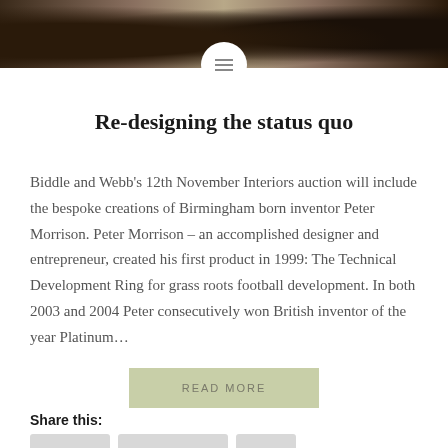[Figure (photo): Dark brown photo strip showing partial views of people or objects in a room, used as a decorative banner at the top of the article page]
Re-designing the status quo
Biddle and Webb's 12th November Interiors auction will include the bespoke creations of Birmingham born inventor Peter Morrison. Peter Morrison – an accomplished designer and entrepreneur, created his first product in 1999: The Technical Development Ring for grass roots football development. In both 2003 and 2004 Peter consecutively won British inventor of the year Platinum...
READ MORE
Share this: